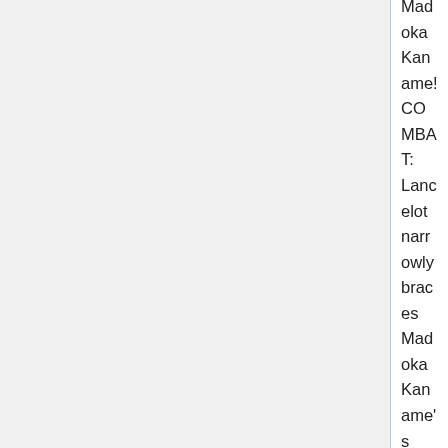Madoka Kaname! COMBAT: Lancelot narrowly braces Madoka Kaname's Scarlet Slash, taking 13 Fatigue damage! Critical Hit! Lancelot's Block ability activates! Lancelot's Parry ability activates! COMBAT: Sailor Moon narrowly dodges Madoka Kaname's Burn My Red, taking 11 Fatigue damage! Sailor Moon's Fade ability activates! Sailor Moon's Flash ability activates! COMBAT: Fuu Hououji perfectly dodges Madoka Kaname's Scarlet Slash, taking 0